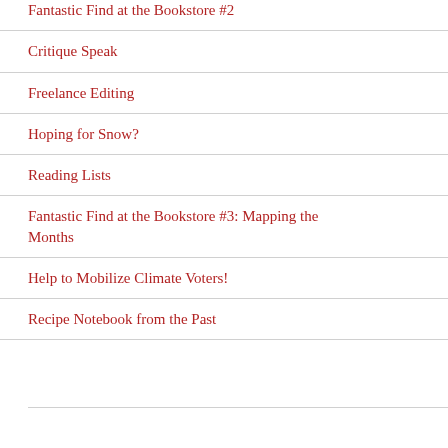Fantastic Find at the Bookstore #2
Critique Speak
Freelance Editing
Hoping for Snow?
Reading Lists
Fantastic Find at the Bookstore #3: Mapping the Months
Help to Mobilize Climate Voters!
Recipe Notebook from the Past